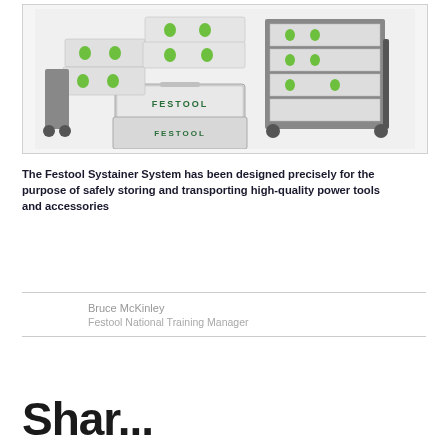[Figure (photo): Festool Systainer storage and transport system cases and rolling cart stacked with multiple white and green cases labeled FESTOOL]
The Festool Systainer System has been designed precisely for the purpose of safely storing and transporting high-quality power tools and accessories
Bruce McKinley
Festool National Training Manager
Shar...